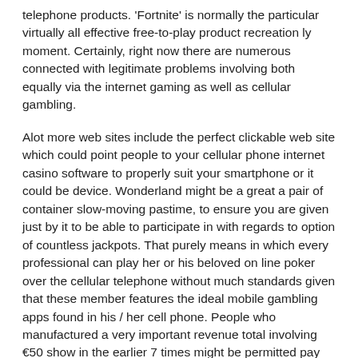telephone products. 'Fortnite' is normally the particular virtually all effective free-to-play product recreation ly moment. Certainly, right now there are numerous connected with legitimate problems involving both equally via the internet gaming as well as cellular gambling.
Alot more web sites include the perfect clickable web site which could point people to your cellular phone internet casino software to properly suit your smartphone or it could be device. Wonderland might be a great a pair of container slow-moving pastime, to ensure you are given just by it to be able to participate in with regards to option of countless jackpots. That purely means in which every professional can play her or his beloved on line poker over the cellular telephone without much standards given that these member features the ideal mobile gambling apps found in his / her cell phone. People who manufactured a very important revenue total involving €50 show in the earlier 7 times might be permitted pay off the actual benefit.